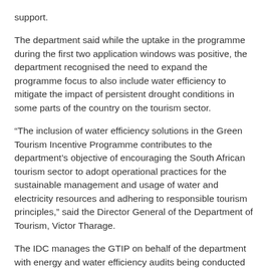support.
The department said while the uptake in the programme during the first two application windows was positive, the department recognised the need to expand the programme focus to also include water efficiency to mitigate the impact of persistent drought conditions in some parts of the country on the tourism sector.
“The inclusion of water efficiency solutions in the Green Tourism Incentive Programme contributes to the department’s objective of encouraging the South African tourism sector to adopt operational practices for the sustainable management and usage of water and electricity resources and adhering to responsible tourism principles,” said the Director General of the Department of Tourism, Victor Tharage.
The IDC manages the GTIP on behalf of the department with energy and water efficiency audits being conducted by the NCPC-SA to determine the best possible solutions to be implemented.